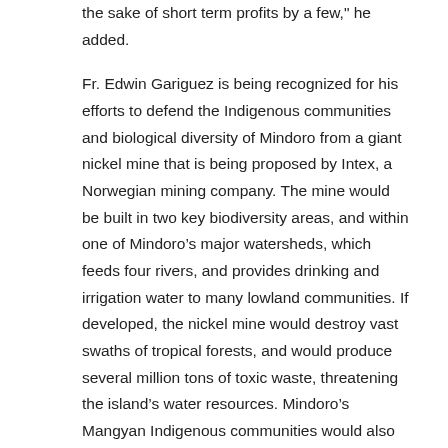the sake of short term profits by a few," he added.
Fr. Edwin Gariguez is being recognized for his efforts to defend the Indigenous communities and biological diversity of Mindoro from a giant nickel mine that is being proposed by Intex, a Norwegian mining company. The mine would be built in two key biodiversity areas, and within one of Mindoro’s major watersheds, which feeds four rivers, and provides drinking and irrigation water to many lowland communities. If developed, the nickel mine would destroy vast swaths of tropical forests, and would produce several million tons of toxic waste, threatening the island’s water resources. Mindoro’s Mangyan Indigenous communities would also be negatively impacted by the mine, as the proposed mining area is within their ancestral land.
“Earthworks congratulates Fr. Edwin Gariguez for